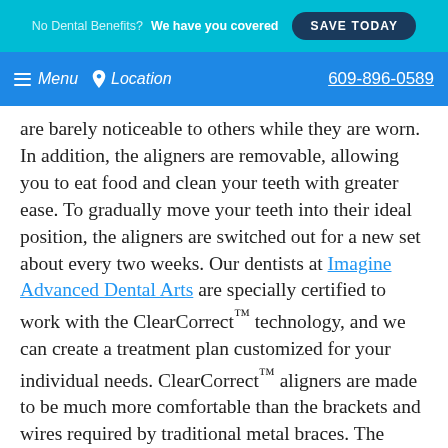No Dental Benefits? We have you covered SAVE TODAY
Menu  Location  609-896-0589
are barely noticeable to others while they are worn. In addition, the aligners are removable, allowing you to eat food and clean your teeth with greater ease. To gradually move your teeth into their ideal position, the aligners are switched out for a new set about every two weeks. Our dentists at Imagine Advanced Dental Arts are specially certified to work with the ClearCorrect™ technology, and we can create a treatment plan customized for your individual needs. ClearCorrect™ aligners are made to be much more comfortable than the brackets and wires required by traditional metal braces. The duration of treatment is about one year, making this unique orthodontic solution the clear choice for many of our patients. After discreetly aligning your teeth, you can enjoy a